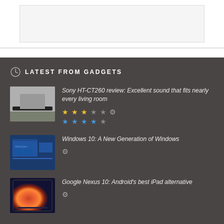[Figure (screenshot): White/gray placeholder box at top of page]
LATEST FROM GADGETS
[Figure (photo): Sony HT-CT260 soundbar product photo in living room]
Sony HT-CT260 review: Excellent sound that fits nearly every living room
[Figure (photo): Windows 10 screenshot on multiple devices]
Windows 10: A New Generation of Windows
[Figure (photo): Google Nexus 10 tablet with colorful wallpaper]
Google Nexus 10: Android's best iPad alternative